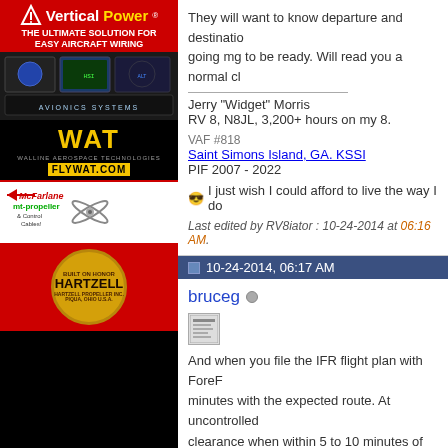[Figure (advertisement): Vertical Power advertisement - The Ultimate Solution for Easy Aircraft Wiring]
[Figure (advertisement): Avionics Systems advertisement with cockpit image]
[Figure (advertisement): WAT / FLYWAT.COM aerospace technologies advertisement]
[Figure (advertisement): McFarlane mt-propeller and Control Cables advertisement]
[Figure (advertisement): Hartzell propellers advertisement]
They will want to know departure and destination going mg to be ready. Will read you a normal cl
Jerry "Widget" Morris
RV 8, N8JL, 3,200+ hours on my 8.
VAF #818
Saint Simons Island, GA. KSSI
PIF 2007 - 2022
I just wish I could afford to live the way I do
Last edited by RV8iator : 10-24-2014 at 06:16 AM.
10-24-2014, 06:17 AM
bruceg
And when you file the IFR flight plan with ForeF minutes with the expected route. At uncontrolled clearance when within 5 to 10 minutes of depar I recently learned that you can file IFR from a c distance to designate the departure airport.
Bruce G.